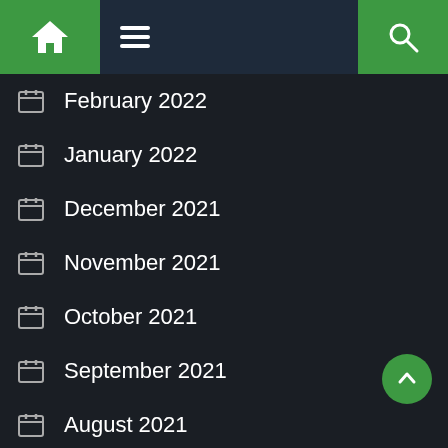Navigation bar with home, menu, and search icons
February 2022
January 2022
December 2021
November 2021
October 2021
September 2021
August 2021
July 2021
June 2021
May 2021